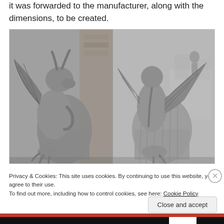it was forwarded to the manufacturer, along with the dimensions, to be created.
[Figure (photo): Two views of stone/concrete gargoyle dragon sculptures in a manufacturing workshop, shown side by side. Left image shows the front view of a gargoyle with wings spread, clinging to a tombstone-like slab. Right image shows the back view of similar gargoyle sculptures with more sculptures visible in the background workshop setting.]
Privacy & Cookies: This site uses cookies. By continuing to use this website, you agree to their use.
To find out more, including how to control cookies, see here: Cookie Policy
Close and accept